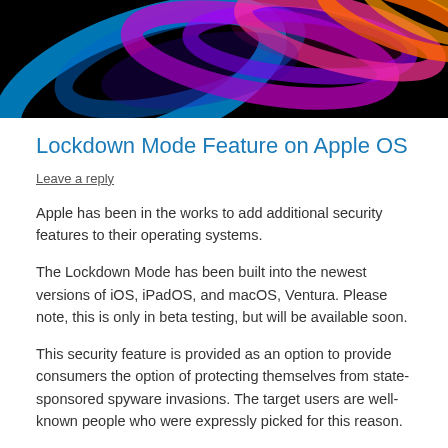[Figure (illustration): Colorful abstract swirl design with blue, purple, pink, and orange hues on a black background — decorative header image]
Lockdown Mode Feature on Apple OS
Leave a reply
Apple has been in the works to add additional security features to their operating systems.
The Lockdown Mode has been built into the newest versions of iOS, iPadOS, and macOS, Ventura. Please note, this is only in beta testing, but will be available soon.
This security feature is provided as an option to provide consumers the option of protecting themselves from state-sponsored spyware invasions. The target users are well-known people who were expressly picked for this reason.